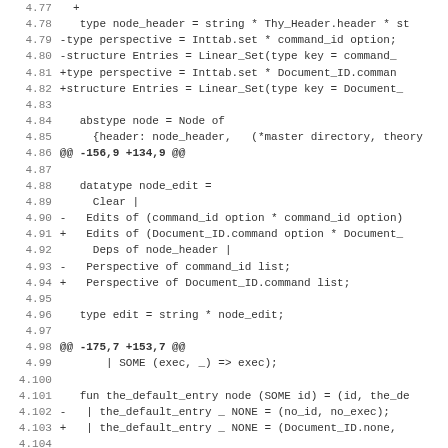[Figure (screenshot): Code diff view showing OCaml source changes, lines 4.77 to 4.108, with line numbers on the left, red lines showing removed code, green lines showing added code, purple lines showing diff hunk headers, and black/gray lines showing context code.]